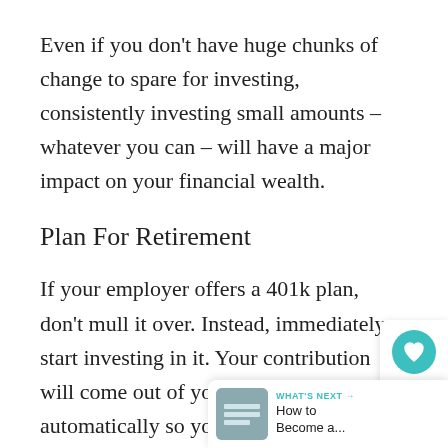Even if you don't have huge chunks of change to spare for investing, consistently investing small amounts – whatever you can – will have a major impact on your financial wealth.
Plan For Retirement
If your employer offers a 401k plan, don't mull it over. Instead, immediately start investing in it. Your contribution will come out of your paycheck automatically so you'll never miss it. But the invested amount plus any interest will compound over time and eventually equal a HUGE money.